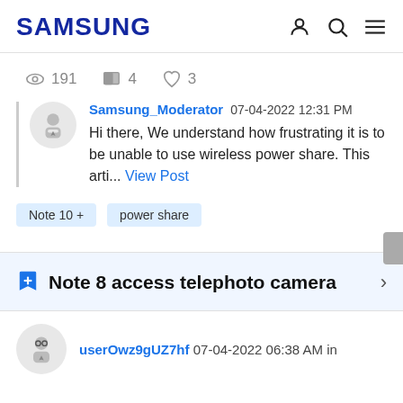SAMSUNG
191  4  3
Samsung_Moderator 07-04-2022 12:31 PM
Hi there, We understand how frustrating it is to be unable to use wireless power share. This arti... View Post
Note 10 +   power share
Note 8 access telephoto camera
userOwz9gUZ7hf 07-04-2022 06:38 AM in